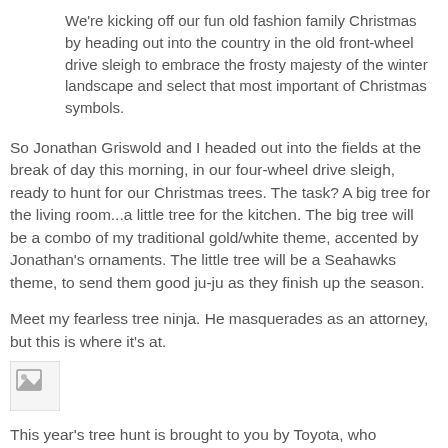We're kicking off our fun old fashion family Christmas by heading out into the country in the old front-wheel drive sleigh to embrace the frosty majesty of the winter landscape and select that most important of Christmas symbols.
So Jonathan Griswold and I headed out into the fields at the break of day this morning, in our four-wheel drive sleigh, ready to hunt for our Christmas trees. The task? A big tree for the living room...a little tree for the kitchen. The big tree will be a combo of my traditional gold/white theme, accented by Jonathan's ornaments. The little tree will be a Seahawks theme, to send them good ju-ju as they finish up the season.
Meet my fearless tree ninja. He masquerades as an attorney, but this is where it's at.
[Figure (photo): A broken/missing image placeholder icon]
This year's tree hunt is brought to you by Toyota, who provided the four-wheel drive sleigh.